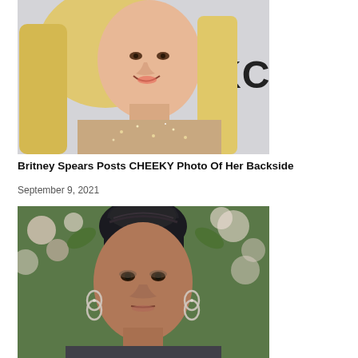[Figure (photo): Blonde woman in a sparkly/sequined nude halter gown smiling at camera, with partial text 'Do' and 'KC' visible on backdrop behind her]
Britney Spears Posts CHEEKY Photo Of Her Backside
September 9, 2021
[Figure (photo): Woman with dark hair in an updo, wearing dangling crystal earrings, posed against a floral green background]